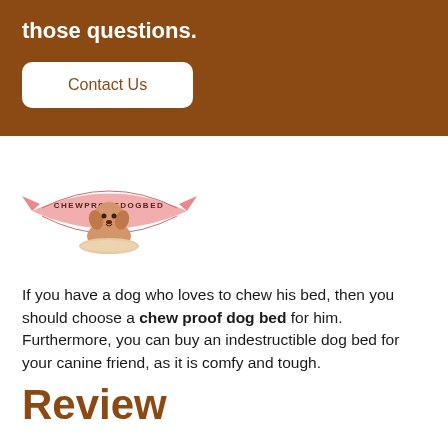those questions.
Contact Us
[Figure (logo): ChewProofDogBed logo: a cartoon dog sitting in a dog bed with a pink ribbon banner arching over it with text 'CHEWPROOFDOGBED']
If you have a dog who loves to chew his bed, then you should choose a chew proof dog bed for him. Furthermore, you can buy an indestructible dog bed for your canine friend, as it is comfy and tough.
Review